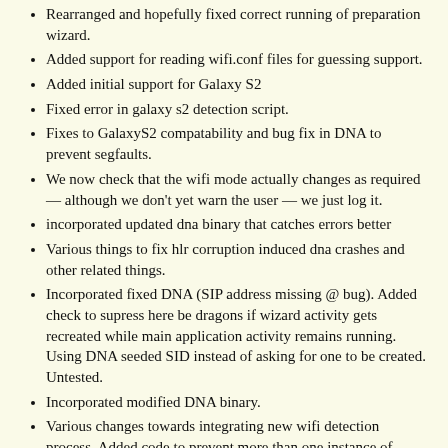Rearranged and hopefully fixed correct running of preparation wizard.
Added support for reading wifi.conf files for guessing support.
Added initial support for Galaxy S2
Fixed error in galaxy s2 detection script.
Fixes to GalaxyS2 compatability and bug fix in DNA to prevent segfaults.
We now check that the wifi mode actually changes as required — although we don't yet warn the user — we just log it.
incorporated updated dna binary that catches errors better
Various things to fix hlr corruption induced dna crashes and other related things.
Incorporated fixed DNA (SIP address missing @ bug). Added check to supress here be dragons if wizard activity gets recreated while main application activity remains running. Using DNA seeded SID instead of asking for one to be created. Untested.
Incorporated modified DNA binary.
Various changes towards integrating new wifi detection process. Added code to prevent more than one instance of background task running at same time.
Changed indicators on preparation wizard to yellow to…